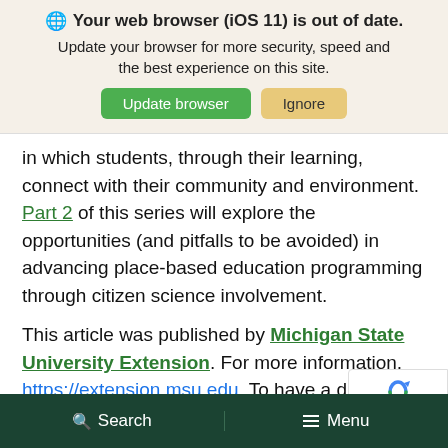[Figure (screenshot): Browser update notification banner with globe icon, bold heading 'Your web browser (iOS 11) is out of date.', subtext 'Update your browser for more security, speed and the best experience on this site.', and two buttons: green 'Update browser' and tan 'Ignore']
in which students, through their learning, connect with their community and environment. Part 2 of this series will explore the opportunities (and pitfalls to be avoided) in advancing place-based education programming through citizen science involvement.
This article was published by Michigan State University Extension. For more information, https://extension.msu.edu. To have a digest of information delivered straight to your email
[Figure (screenshot): reCAPTCHA widget overlay in bottom right corner showing blue recycling arrows logo and 'Privacy - Terms' text]
Search   Menu